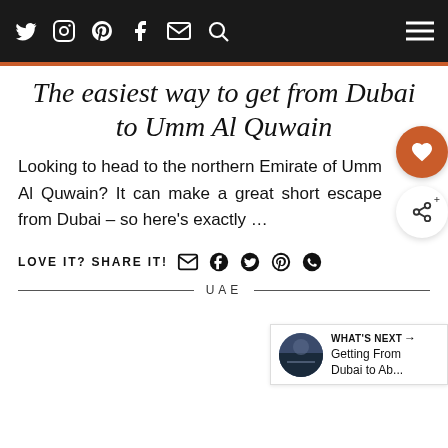Social nav bar with Twitter, Instagram, Pinterest, Facebook, Email, Search icons and hamburger menu
The easiest way to get from Dubai to Umm Al Quwain
Looking to head to the northern Emirate of Umm Al Quwain? It can make a great short escape from Dubai – so here's exactly …
LOVE IT? SHARE IT!
WHAT'S NEXT → Getting From Dubai to Ab...
UAE